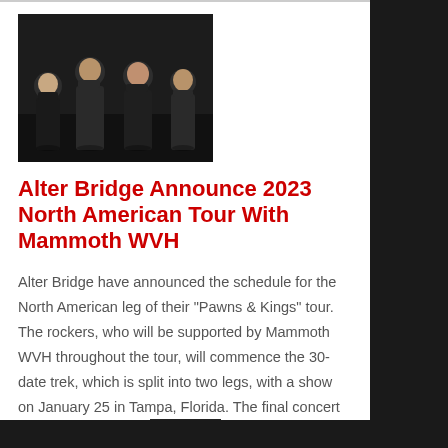[Figure (photo): Photo of four band members (Alter Bridge) standing against a dark background, all wearing dark clothing]
Alter Bridge Announce 2023 North American Tour With Mammoth WVH
Alter Bridge have announced the schedule for the North American leg of their "Pawns & Kings" tour. The rockers, who will be supported by Mammoth WVH throughout the tour, will commence the 30-date trek, which is split into two legs, with a show on January 25 in Tampa, Florida. The final concert is scheduled to…… MORE